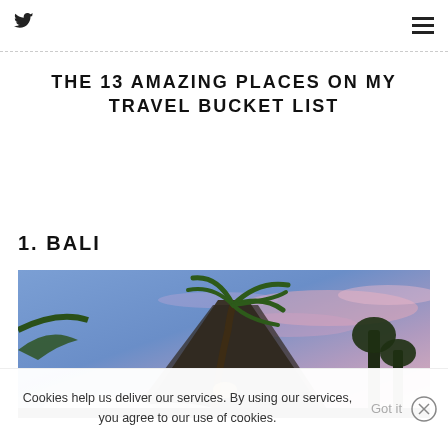[Twitter icon] [Hamburger menu]
THE 13 AMAZING PLACES ON MY TRAVEL BUCKET LIST
1. BALI
[Figure (photo): Tropical resort scene at dusk in Bali — a tall thatched-roof structure and palm tree silhouetted against a blue-pink sunset sky, with white umbrella canopies below]
Cookies help us deliver our services. By using our services, you agree to our use of cookies. Got it